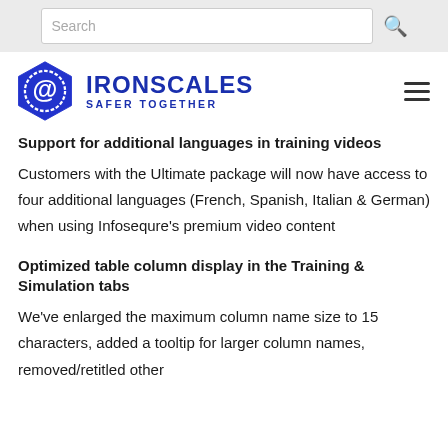Search
[Figure (logo): IRONSCALES hexagon logo with @ symbol and text IRONSCALES SAFER TOGETHER in blue]
Support for additional languages in training videos
Customers with the Ultimate package will now have access to four additional languages (French, Spanish, Italian & German) when using Infosequre's premium video content
Optimized table column display in the Training & Simulation tabs
We've enlarged the maximum column name size to 15 characters, added a tooltip for larger column names, removed/retitled other